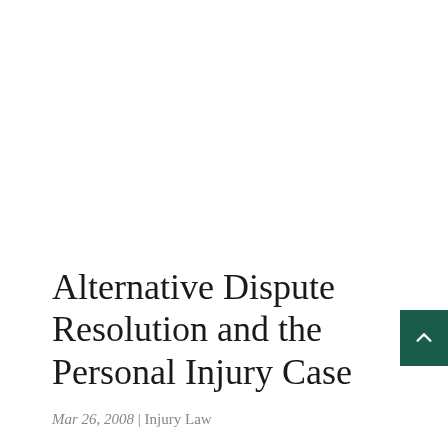Alternative Dispute Resolution and the Personal Injury Case
Mar 26, 2008 | Injury Law